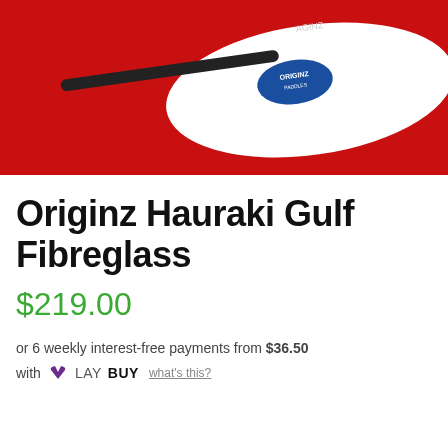[Figure (photo): Product photo of a white fibreglass paddle with Originz logo on a red background]
Originz Hauraki Gulf Fibreglass
$219.00
or 6 weekly interest-free payments from $36.50
with LAYBUY what's this?